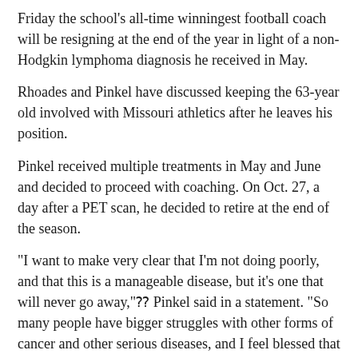Friday the school's all-time winningest football coach will be resigning at the end of the year in light of a non-Hodgkin lymphoma diagnosis he received in May.
Rhoades and Pinkel have discussed keeping the 63-year old involved with Missouri athletics after he leaves his position.
Pinkel received multiple treatments in May and June and decided to proceed with coaching. On Oct. 27, a day after a PET scan, he decided to retire at the end of the season.
"I want to make very clear that I'm not doing poorly, and that this is a manageable disease, but it's one that will never go away,"⁇ Pinkel said in a statement. "So many people have bigger struggles with other forms of cancer and other serious diseases, and I feel blessed that I've got something I can fight and still enjoy a good quality of life.
"I don't know how many years I have left, but I want to turn my focus to life outside of the daily grind of football."⁇